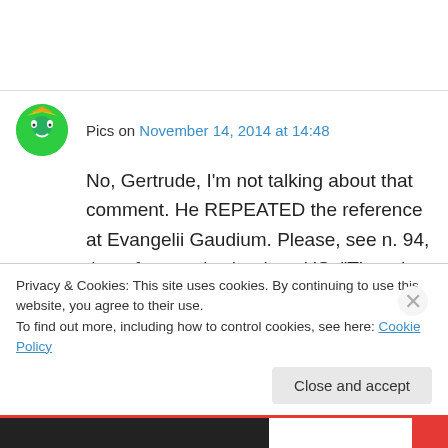Pics on November 14, 2014 at 14:48
No, Gertrude, I'm not talking about that comment. He REPEATED the reference at Evangelii Gaudium. Please, see n. 94, the reference is clearly to US: “The other is the self-absorbed promethean neopelagianism of those who ultimately trust only in their own powers and
Privacy & Cookies: This site uses cookies. By continuing to use this website, you agree to their use.
To find out more, including how to control cookies, see here: Cookie Policy
Close and accept